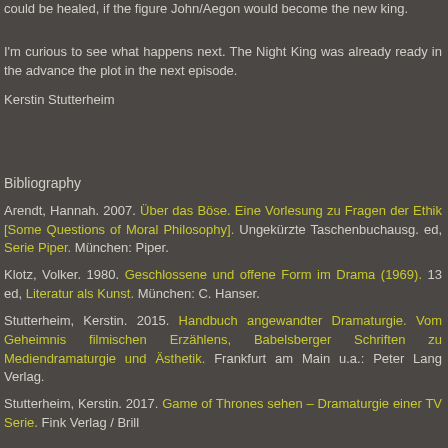could be healed, if the figure John/Aegon would become the new king.
I'm curious to see what happens next. The Night King was already ready in the advance the plot in the next episode.
Kerstin Stutterheim
Bibliography
Arendt, Hannah. 2007. Über das Böse. Eine Vorlesung zu Fragen der Ethik [Some Questions of Moral Philosophy]. Ungekürzte Taschenbuchausg. ed, Serie Piper. München: Piper.
Klotz, Volker. 1980. Geschlossene und offene Form im Drama (1969). 13 ed, Literatur als Kunst. München: C. Hanser.
Stutterheim, Kerstin. 2015. Handbuch angewandter Dramaturgie. Vom Geheimnis filmischen Erzählens, Babelsberger Schriften zu Mediendramaturgie und Ästhetik. Frankfurt am Main u.a.: Peter Lang Verlag.
Stutterheim, Kerstin. 2017. Game of Thrones sehen – Dramaturgie einer TV Serie. Fink Verlag / Brill.